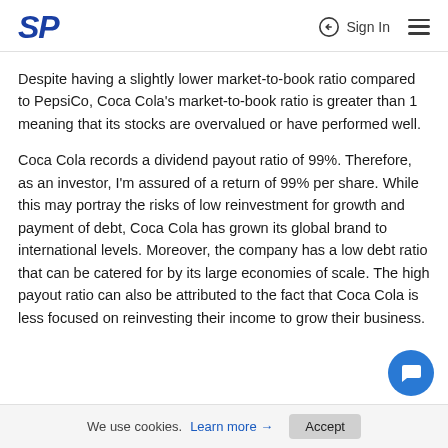SP | Sign In
Despite having a slightly lower market-to-book ratio compared to PepsiCo, Coca Cola's market-to-book ratio is greater than 1 meaning that its stocks are overvalued or have performed well.
Coca Cola records a dividend payout ratio of 99%. Therefore, as an investor, I'm assured of a return of 99% per share. While this may portray the risks of low reinvestment for growth and payment of debt, Coca Cola has grown its global brand to international levels. Moreover, the company has a low debt ratio that can be catered for by its large economies of scale. The high payout ratio can also be attributed to the fact that Coca Cola is less focused on reinvesting their income to grow their business.
We use cookies. Learn more → Accept